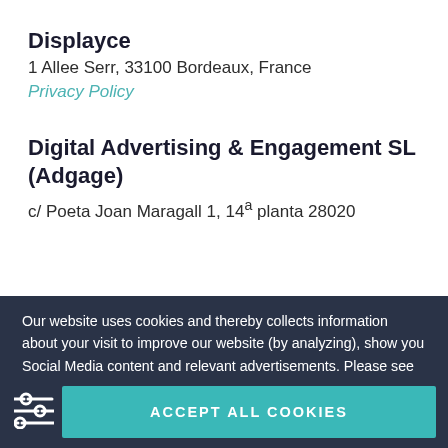Displayce
1 Allee Serr, 33100 Bordeaux, France
Privacy Policy
Digital Advertising & Engagement SL (Adgage)
c/ Poeta Joan Maragall 1, 14ª planta 28020
Our website uses cookies and thereby collects information about your visit to improve our website (by analyzing), show you Social Media content and relevant advertisements. Please see our cookies page for furher details or agree by clicking the 'Accept' button.
ACCEPT ALL COOKIES